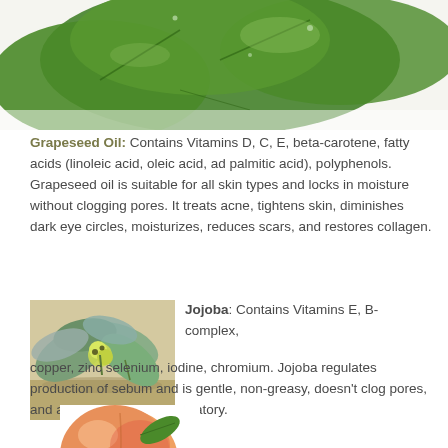[Figure (photo): Green leaves photo at top of page, partially cropped]
Grapeseed Oil: Contains Vitamins D, C, E, beta-carotene, fatty acids (linoleic acid, oleic acid, ad palmitic acid), polyphenols. Grapeseed oil is suitable for all skin types and locks in moisture without clogging pores. It treats acne, tightens skin, diminishes dark eye circles, moisturizes, reduces scars, and restores collagen.
[Figure (photo): Jojoba plant with flowers and large leaves photographed outdoors]
Jojoba: Contains Vitamins E, B-complex, copper, zinc selenium, iodine, chromium. Jojoba regulates production of sebum and is gentle, non-greasy, doesn't clog pores, and acts as an anti-inflammatory.
[Figure (photo): Peach fruit partially visible at bottom of page, cropped]